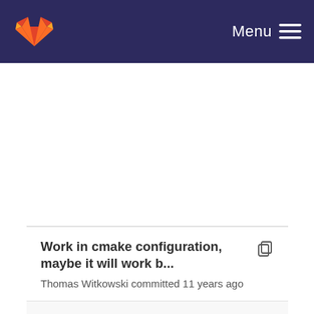GitLab — Menu
Work in cmake configuration, maybe it will work b... Thomas Witkowski committed 11 years ago